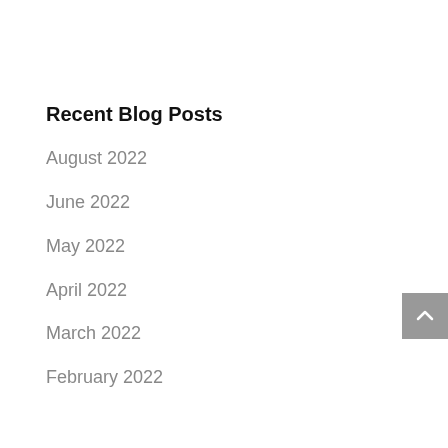Recent Blog Posts
August 2022
June 2022
May 2022
April 2022
March 2022
February 2022
January 2022
December 2021
October 2021